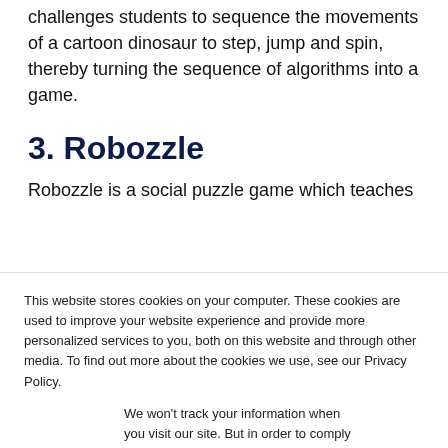challenges students to sequence the movements of a cartoon dinosaur to step, jump and spin, thereby turning the sequence of algorithms into a game.
3. Robozzle
Robozzle is a social puzzle game which teaches
This website stores cookies on your computer. These cookies are used to improve your website experience and provide more personalized services to you, both on this website and through other media. To find out more about the cookies we use, see our Privacy Policy.
We won't track your information when you visit our site. But in order to comply with your preferences, we'll have to use just one tiny cookie so that you're not asked to make this choice again.